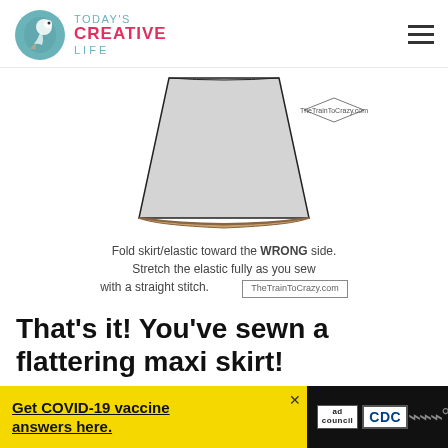TODAY'S CREATIVE LIFE
[Figure (illustration): Illustration of a skirt panel folded at the bottom, showing the wrong side fold with elastic. The fabric panel is trapezoid-shaped in light gray with a dark outline, and the bottom edge has a warm brown/tan fold line.]
Fold skirt/elastic toward the WRONG side. Stretch the elastic fully as you sew with a straight stitch. TheTrainToCrazy.com
That’s it! You’ve sewn a flattering maxi skirt!
[Figure (infographic): Advertisement banner: Get COVID-19 vaccine answers here. Ad Council and CDC logos shown. Dark background on right with stylized W logo.]